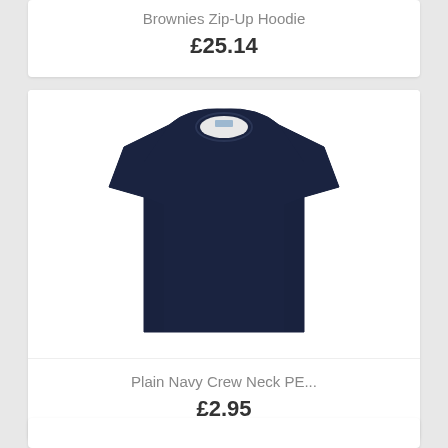Brownies Zip-Up Hoodie
£25.14
[Figure (photo): A plain navy crew neck PE t-shirt on a white background]
Plain Navy Crew Neck PE...
£2.95